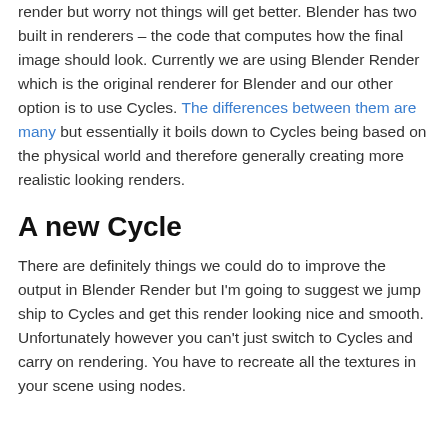render but worry not things will get better. Blender has two built in renderers – the code that computes how the final image should look. Currently we are using Blender Render which is the original renderer for Blender and our other option is to use Cycles. The differences between them are many but essentially it boils down to Cycles being based on the physical world and therefore generally creating more realistic looking renders.
A new Cycle
There are definitely things we could do to improve the output in Blender Render but I'm going to suggest we jump ship to Cycles and get this render looking nice and smooth. Unfortunately however you can't just switch to Cycles and carry on rendering. You have to recreate all the textures in your scene using nodes.